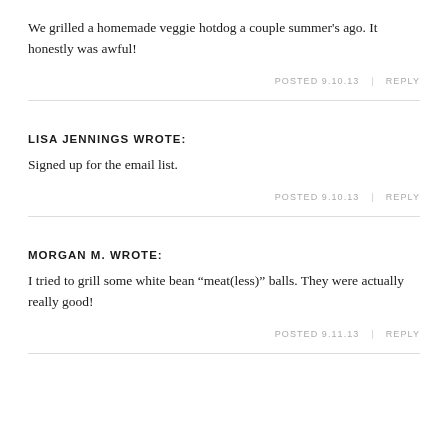We grilled a homemade veggie hotdog a couple summer's ago. It honestly was awful!
POSTED 9.10.13  |  REPLY
LISA JENNINGS WROTE:
Signed up for the email list.
POSTED 9.10.13  |  REPLY
MORGAN M. WROTE:
I tried to grill some white bean “meat(less)” balls. They were actually really good!
POSTED 9.11.13  |  REPLY